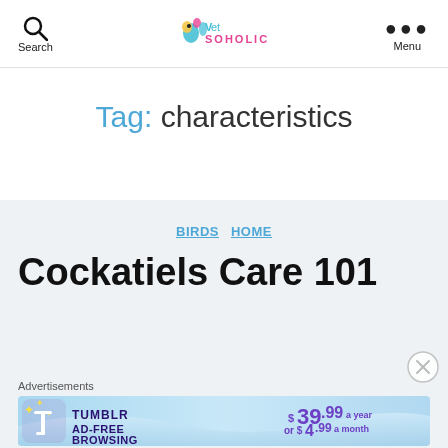[Figure (logo): Vetsoholic website logo with colorful bird icon and teal/pink text]
Search
Menu
Tag: characteristics
BIRDS  HOME
Cockatiels Care 101
Advertisements
[Figure (infographic): Tumblr Ad-Free Browsing advertisement banner showing $39.99 a year or $4.99 a month]